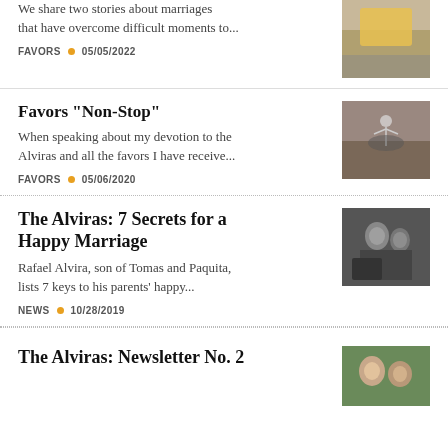We share two stories about marriages that have overcome difficult moments to...
FAVORS • 05/05/2022
Favors "Non-Stop"
When speaking about my devotion to the Alviras and all the favors I have receive...
FAVORS • 05/06/2020
The Alviras: 7 Secrets for a Happy Marriage
Rafael Alvira, son of Tomas and Paquita, lists 7 keys to his parents' happy...
NEWS • 10/28/2019
The Alviras: Newsletter No. 2